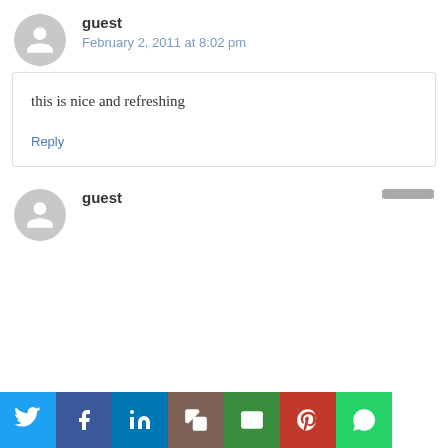guest
February 2, 2011 at 8:02 pm
this is nice and refreshing
Reply
guest
[Figure (infographic): Social share buttons: Twitter, Facebook, LinkedIn, Copy, Email, Pinterest, WhatsApp]